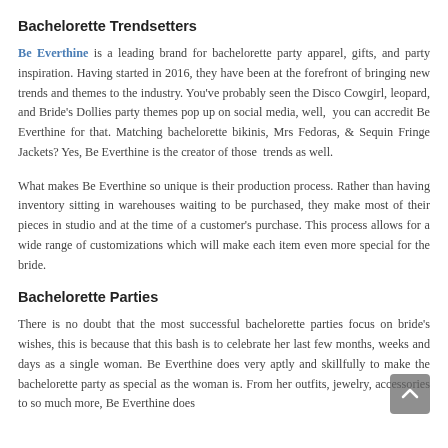Bachelorette Trendsetters
Be Everthine is a leading brand for bachelorette party apparel, gifts, and party inspiration. Having started in 2016, they have been at the forefront of bringing new trends and themes to the industry. You've probably seen the Disco Cowgirl, leopard, and Bride's Dollies party themes pop up on social media, well,  you can accredit Be Everthine for that. Matching bachelorette bikinis, Mrs Fedoras, & Sequin Fringe Jackets? Yes, Be Everthine is the creator of those  trends as well.
What makes Be Everthine so unique is their production process. Rather than having inventory sitting in warehouses waiting to be purchased, they make most of their pieces in studio and at the time of a customer's purchase. This process allows for a wide range of customizations which will make each item even more special for the bride.
Bachelorette Parties
There is no doubt that the most successful bachelorette parties focus on bride's wishes, this is because that this bash is to celebrate her last few months, weeks and days as a single woman. Be Everthine does very aptly and skillfully to make the bachelorette party as special as the woman is. From her outfits, jewelry, accessories to so much more, Be Everthine does